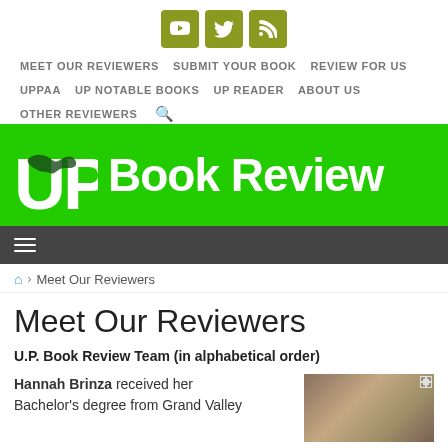[Figure (infographic): Social media icon buttons: YouTube, Twitter, RSS feed in olive/yellow-green squares]
MEET OUR REVIEWERS  SUBMIT YOUR BOOK  REVIEW FOR US  UPPAA  UP NOTABLE BOOKS  UP READER  ABOUT US  OTHER REVIEWERS
[Figure (logo): UP Book Review logo - white UP letters with Michigan UP map graphic on bright green background with white 'Book Review' text]
[Figure (infographic): Dark gray hamburger menu bar with three horizontal white lines]
Home > Meet Our Reviewers
Meet Our Reviewers
U.P. Book Review Team (in alphabetical order)
Hannah Brinza received her Bachelor's degree from Grand Valley
[Figure (photo): Partial photo of a person, outdoor/nature background, cropped at bottom right]